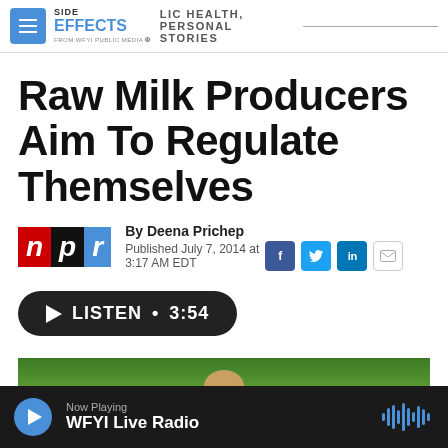SIDE EFFECTS — PUBLIC HEALTH, PERSONAL STORIES — FROM WFYI PUBLIC MEDIA
Raw Milk Producers Aim To Regulate Themselves
By Deena Prichep
Published July 7, 2014 at 3:17 AM EDT
LISTEN • 3:54
[Figure (photo): Green grass background with partial view of a cow or animal head]
Now Playing — WFYI Live Radio